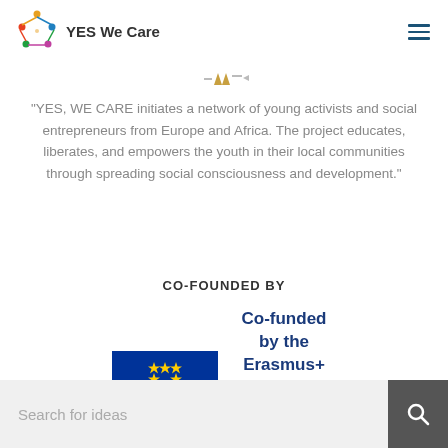[Figure (logo): YES We Care logo with colorful star-people graphic and text YES We Care]
[Figure (illustration): Decorative quotation mark icon in gold/dark colors]
"YES, WE CARE initiates a network of young activists and social entrepreneurs from Europe and Africa. The project educates, liberates, and empowers the youth in their local communities through spreading social consciousness and development."
CO-FOUNDED BY
[Figure (logo): EU flag with circle of yellow stars on blue background next to text: Co-funded by the Erasmus+ Programme of the European Union]
Search for ideas